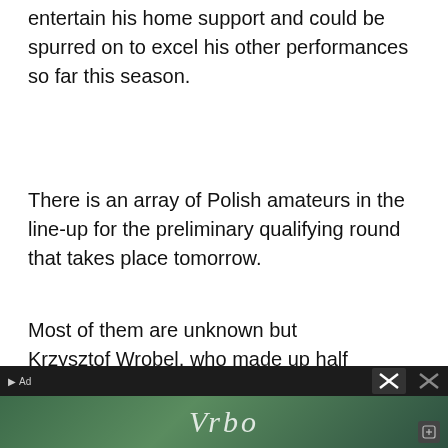entertain his home support and could be spurred on to excel his other performances so far this season.
There is an array of Polish amateurs in the line-up for the preliminary qualifying round that takes place tomorrow.
Most of them are unknown but Krzysztof Wrobel, who made up half of the Polish team alongside Filipiak in July's World Cup, takes on Pakistan's Najmur Khan for a place in the first round prop...
In an intriguing amateur tie, Ben Harrison, who has been struggling with back and neck pain for th...
[Figure (other): Advertisement banner for Vrbo (vacation rental website) at the bottom of the page, with dark background, Vrbo logo text in white italic, ad label, close button X, and a small icon.]